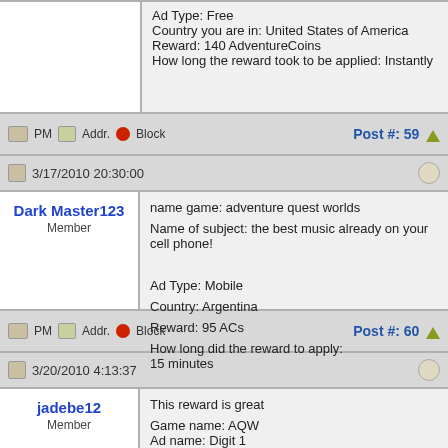Ad Type: Free
Country you are in: United States of America
Reward: 140 AdventureCoins
How long the reward took to be applied: Instantly
PM  Addr.  Block   Post #: 59
3/17/2010 20:30:00
Dark Master123
Member
name game: adventure quest worlds

Name of subject: the best music already on your cell phone!


Ad Type: Mobile

Country: Argentina

Reward: 95 ACs

How long did the reward to apply:
15 minutes
PM  Addr.  Block   Post #: 60
3/20/2010 4:13:37
jadebe12
Member
This reward is great

Game name: AQW
Ad name: Digit 1
Country you are in: Philippines
Reward: 140 AC
How long the reward took to be applied: 30 minutes